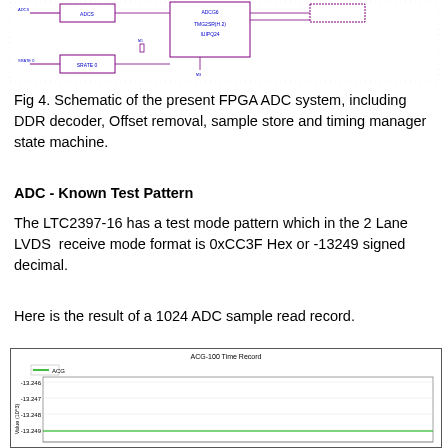[Figure (schematic): Partial schematic of FPGA ADC system showing DDR decoder, offset removal, sample store and timing manager state machine components with connecting lines and labels.]
Fig 4. Schematic of the present FPGA ADC system, including DDR decoder, Offset removal, sample store and timing manager state machine.
ADC - Known Test Pattern
The LTC2397-16 has a test mode pattern which in the 2 Lane LVDS  receive mode format is 0xCC3F Hex or -13249 signed decimal.
Here is the result of a 1024 ADC sample read record.
[Figure (continuous-plot): ACG-100 Time Record chart showing a flat line near -13.249 (x10^3) value. Y-axis ranges from approximately -13.246 to -13.249. Legend shows ACG line in green.]